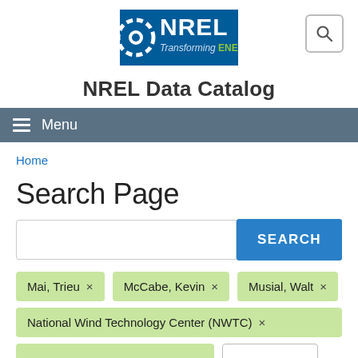[Figure (logo): NREL logo — blue square with dotted circle motif and NREL text, tagline 'Transforming ENERGY']
NREL Data Catalog
Menu
Home
Search Page
Mai, Trieu ×
McCabe, Kevin ×
Musial, Walt ×
National Wind Technology Center (NWTC) ×